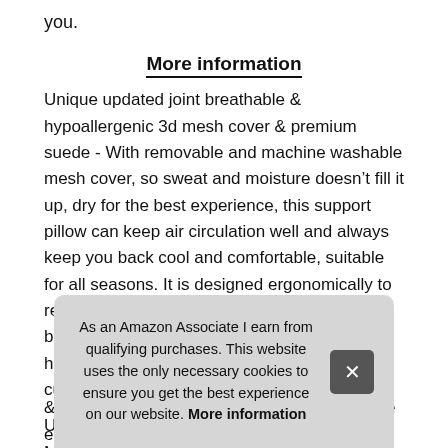you.
More information
Unique updated joint breathable & hypoallergenic 3d mesh cover & premium suede - With removable and machine washable mesh cover, so sweat and moisture doesn’t fill it up, dry for the best experience, this support pillow can keep air circulation well and always keep you back cool and comfortable, suitable for all seasons. It is designed ergonomically to relieve upper, mid and lower back pain and back tightness, support you to achieve a healthy posture and helps maintain the natural curve of the spine.
Unli
Mer
peo
Cus
& never flatorthopedic backrest with adjustable elastic straps
As an Amazon Associate I earn from qualifying purchases. This website uses the only necessary cookies to ensure you get the best experience on our website. More information